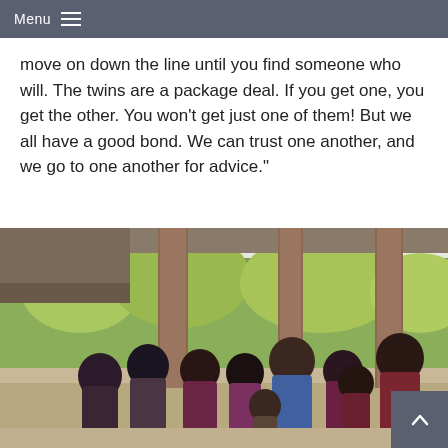Menu
move on down the line until you find someone who will. The twins are a package deal. If you get one, you get the other. You won't get just one of them! But we all have a good bond. We can trust one another, and we go to one another for advice."
[Figure (photo): Family group photo showing several people standing together outdoors on a porch or deck area with wooden pillars and green trees in the background. Adults and children wearing dark/maroon colors.]